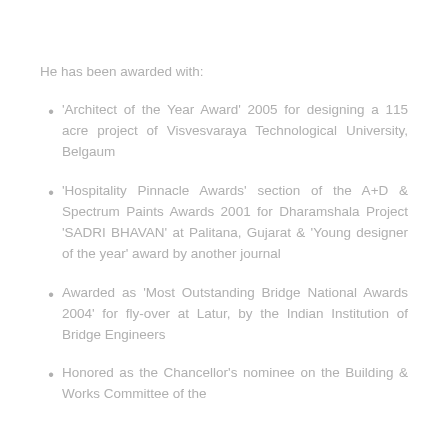He has been awarded with:
'Architect of the Year Award' 2005 for designing a 115 acre project of Visvesvaraya Technological University, Belgaum
'Hospitality Pinnacle Awards' section of the A+D & Spectrum Paints Awards 2001 for Dharamshala Project 'SADRI BHAVAN' at Palitana, Gujarat & 'Young designer of the year' award by another journal
Awarded as 'Most Outstanding Bridge National Awards 2004' for fly-over at Latur, by the Indian Institution of Bridge Engineers
Honored as the Chancellor's nominee on the Building & Works Committee of the